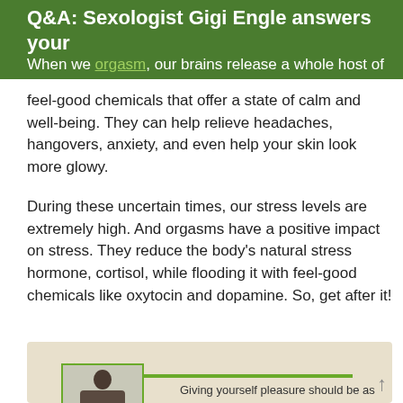Q&A: Sexologist Gigi Engle answers your
When we orgasm, our brains release a whole host of feel-good chemicals that offer a state of calm and well-being. They can help relieve headaches, hangovers, anxiety, and even help your skin look more glowy.
During these uncertain times, our stress levels are extremely high. And orgasms have a positive impact on stress. They reduce the body’s natural stress hormone, cortisol, while flooding it with feel-good chemicals like oxytocin and dopamine. So, get after it!
[Figure (photo): Quote box with beige background, green quotation marks, green horizontal line, small portrait photo of a dark-haired woman, and partial quote text beginning 'Giving yourself pleasure should be as']